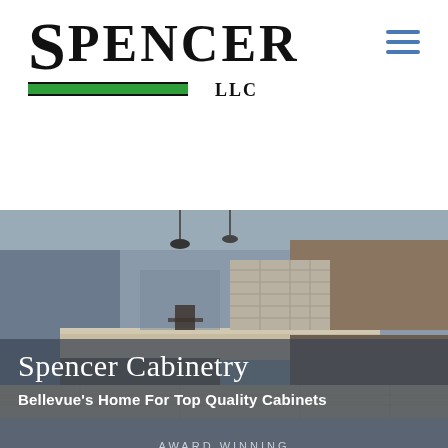[Figure (logo): Spencer LLC company logo with large serif font and green bar accent]
[Figure (photo): Kitchen interior photo showing cabinetry, island countertop, stone backsplash, and pendant lighting]
Spencer Cabinetry
Bellevue's Home For Top Quality Cabinets
AWARD WINNING
Cabinet Company Serving Bellevue, Washington